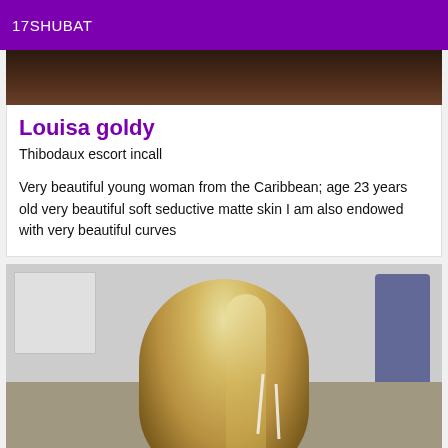17SHUBAT
[Figure (photo): Top portion of a photo showing dark background, partially cropped]
Louisa goldy
Thibodaux escort incall
Very beautiful young woman from the Caribbean; age 23 years old very beautiful soft seductive matte skin I am also endowed with very beautiful curves
[Figure (photo): Photo showing back of a person with long blonde hair, facing away from camera, indoor setting with white cabinets visible]